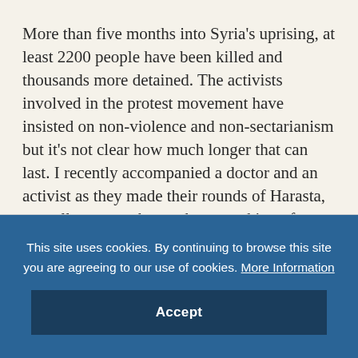More than five months into Syria's uprising, at least 2200 people have been killed and thousands more detained. The activists involved in the protest movement have insisted on non-violence and non-sectarianism but it's not clear how much longer that can last. I recently accompanied a doctor and an activist as they made their rounds of Harasta, a small town on the northern outskirts of Damascus.
This site uses cookies. By continuing to browse this site you are agreeing to our use of cookies. More Information
Accept